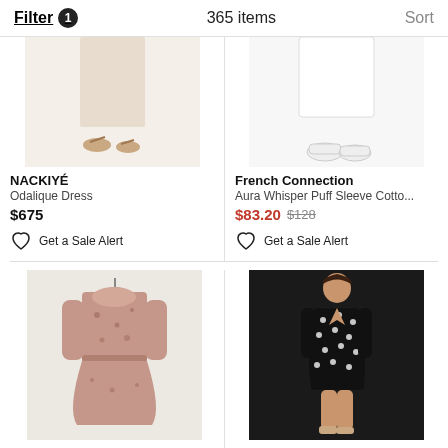Filter 1   365 items   Sort
[Figure (photo): Bottom half of a model wearing a beige/cream dress with sandals — NACKIYÉ product photo]
NACKIYÉ
Odalique Dress
$675
Get a Sale Alert
[Figure (photo): Bottom half of a model wearing a white puff sleeve cotton dress with white sneakers — French Connection product photo]
French Connection
Aura Whisper Puff Sleeve Cotto...
$83.20 $128
Get a Sale Alert
[Figure (photo): Full length product photo of a pink/mauve floral long-sleeve midi dress on hanger — BA&SH Maggy Dress Beige]
BA&SH
Maggy Dress Beige
[Figure (photo): Model wearing a black polka dot mini dress — Leena For Mac Duggal product photo]
Leena For Mac Duggal
Polka Dot Mini